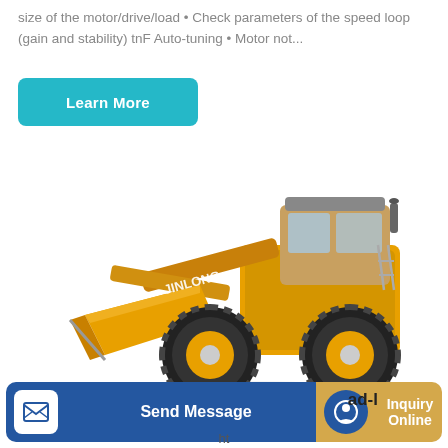size of the motor/drive/load • Check parameters of the speed loop (gain and stability) tnF Auto-tuning • Motor not...
[Figure (other): A cyan/teal 'Learn More' button with rounded corners]
[Figure (photo): A yellow JINLONG front-end wheel loader / construction machine on white background]
[Figure (other): Bottom navigation bar with Send Message button (blue) and Inquiry Online button (gold/tan), overlapping text 'ad-l' and 'ht']